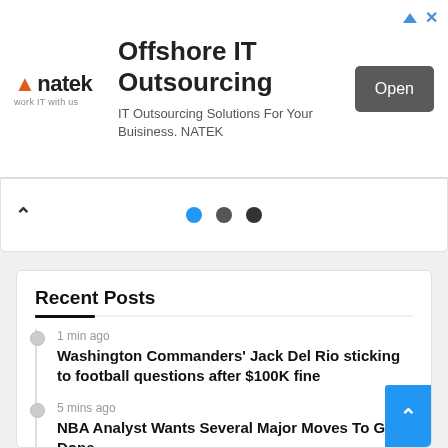[Figure (screenshot): NATEK advertisement banner for Offshore IT Outsourcing with logo, text, and Open button]
[Figure (screenshot): Navigation bar with up arrow and three dots (blue, dark gray, darker gray)]
Recent Posts
1 min ago
Washington Commanders' Jack Del Rio sticking to football questions after $100K fine
5 mins ago
NBA Analyst Wants Several Major Moves To Get Done
6 mins ago
Pitt Women's soccer returning bulk of roster, ready for 2022 season